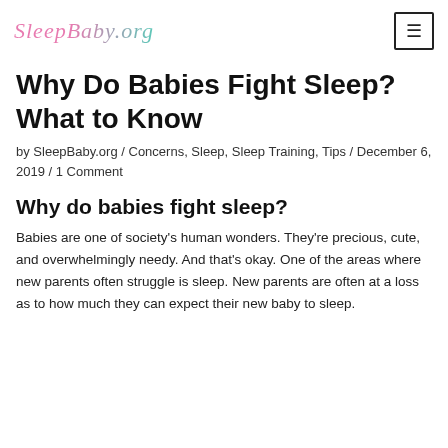SleepBaby.org
Why Do Babies Fight Sleep? What to Know
by SleepBaby.org / Concerns, Sleep, Sleep Training, Tips / December 6, 2019 / 1 Comment
Why do babies fight sleep?
Babies are one of society's human wonders. They're precious, cute, and overwhelmingly needy. And that's okay. One of the areas where new parents often struggle is sleep. New parents are often at a loss as to how much they can expect their new baby to sleep.